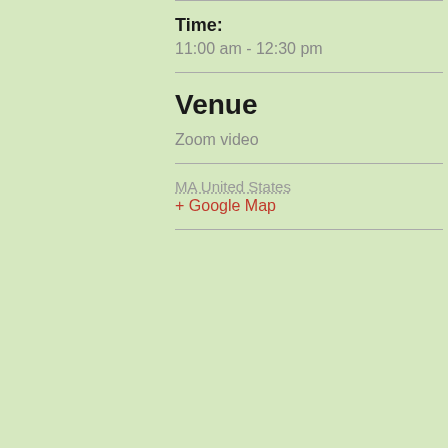Time:
11:00 am - 12:30 pm
Venue
Zoom video
MA United States
+ Google Map